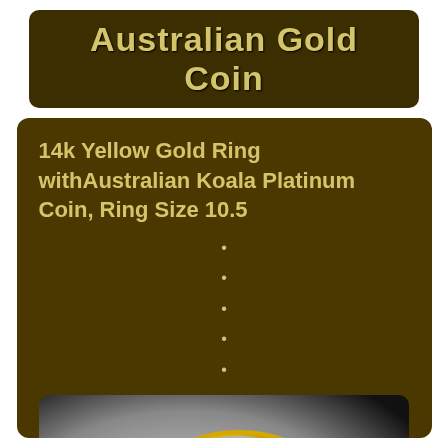Australian Gold Coin
14k Yellow Gold Ring withAustralian Koala Platinum Coin, Ring Size 10.5
•
•
•
•
•
[Figure (photo): A 14k yellow gold ring set with an Australian Koala platinum coin, displayed on a black velvet stand. The coin is visible in the center of the ring face, with the gold shank below.]